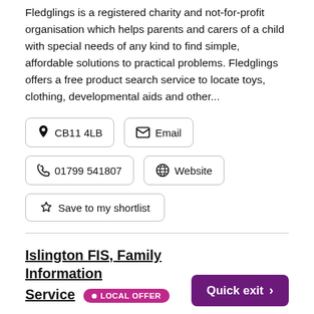Fledglings is a registered charity and not-for-profit organisation which helps parents and carers of a child with special needs of any kind to find simple, affordable solutions to practical problems. Fledglings offers a free product search service to locate toys, clothing, developmental aids and other...
CB11 4LB
Email
01799 541807
Website
Save to my shortlist
Islington FIS, Family Information Service • LOCAL OFFER
The phone line is open Monday to